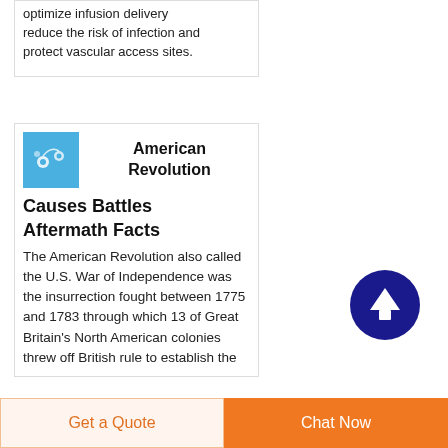optimize infusion delivery reduce the risk of infection and protect vascular access sites.
American Revolution
Causes Battles Aftermath Facts
The American Revolution also called the U.S. War of Independence was the insurrection fought between 1775 and 1783 through which 13 of Great Britain's North American colonies threw off British rule to establish the
[Figure (illustration): Blue thumbnail image with white earbuds/headphones illustration]
[Figure (illustration): Dark blue circular scroll-to-top button with white upward arrow]
Get a Quote
Chat Now